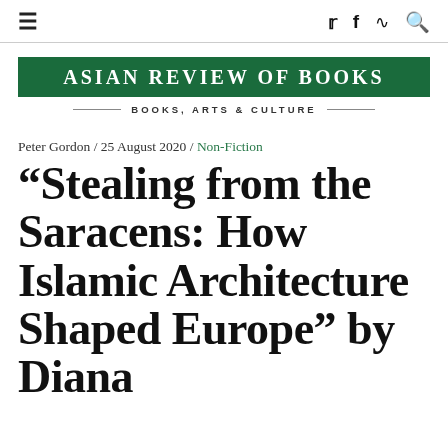≡  [twitter] [facebook] [rss] [search]
[Figure (logo): Asian Review of Books logo banner — green rectangle with white uppercase text 'Asian Review of Books', below it a tagline 'Books, Arts & Culture' with decorative horizontal lines]
Peter Gordon / 25 August 2020 / Non-Fiction
“Stealing from the Saracens: How Islamic Architecture Shaped Europe” by Diana Da—